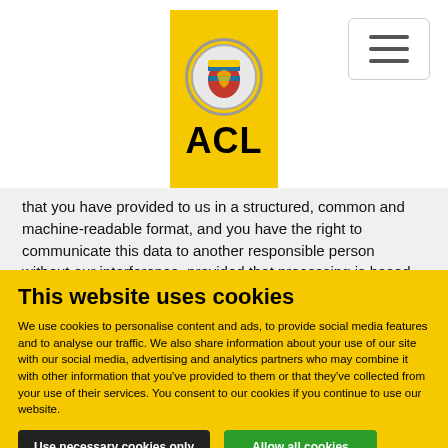[Figure (logo): ACL logo — yellow rectangle with emblem and bold ACL text]
that you have provided to us in a structured, common and machine-readable format, and you have the right to communicate this data to another responsible person without our interference, provided that processing is based on a consent or a contract and it is carried out by us using automated procedures.
2.6 Right of Revocation
This website uses cookies
We use cookies to personalise content and ads, to provide social media features and to analyse our traffic. We also share information about your use of our site with our social media, advertising and analytics partners who may combine it with other information that you've provided to them or that they've collected from your use of their services. You consent to our cookies if you continue to use our website.
Use necessary cookies only
Allow all cookies
Show details